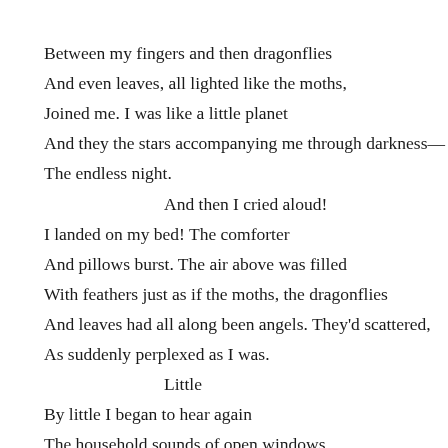Between my fingers and then dragonflies
And even leaves, all lighted like the moths,
Joined me. I was like a little planet
And they the stars accompanying me through darkness—
The endless night.
    And then I cried aloud!
I landed on my bed! The comforter
And pillows burst. The air above was filled
With feathers just as if the moths, the dragonflies
And leaves had all along been angels. They'd scattered,
As suddenly perplexed as I was.
    Little
By little I began to hear again
The household sounds of open windows.
The pop and stutter of their hinges. The storm
Had passed me by. I watched the ghostly curtains